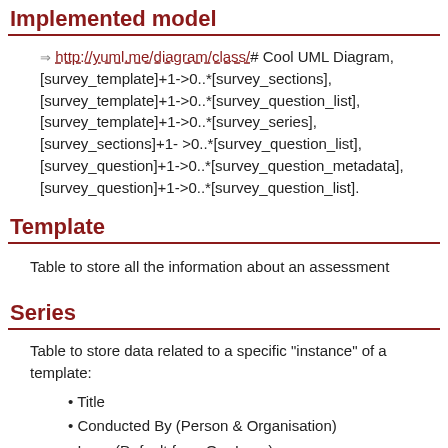Implemented model
⇒ http://yuml.me/diagram/class/# Cool UML Diagram, [survey_template]+1->0..*[survey_sections], [survey_template]+1->0..*[survey_question_list], [survey_template]+1->0..*[survey_series], [survey_sections]+1- >0..*[survey_question_list], [survey_question]+1->0..*[survey_question_metadata], [survey_question]+1->0..*[survey_question_list].
Template
Table to store all the information about an assessment
Series
Table to store data related to a specific "instance" of a template:
Title
Conducted By (Person & Organisation)
Logo (Default from Org Logo)